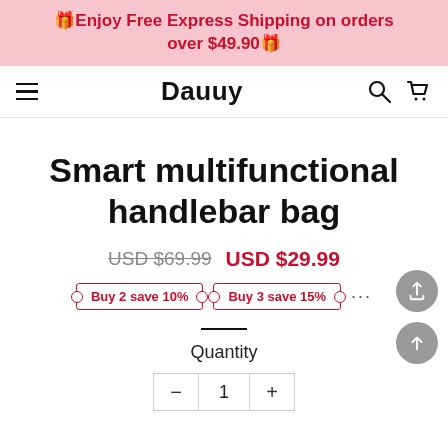🎁Enjoy Free Express Shipping on orders over $49.90🎁
Dauuy
Smart multifunctional handlebar bag
USD $69.99  USD $29.99
Buy 2 save 10%  Buy 3 save 15%  ...
Quantity
- 1 +